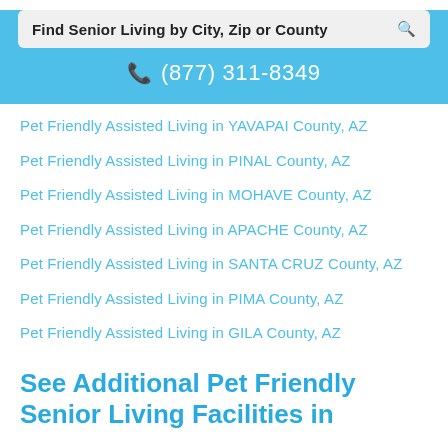Find Senior Living by City, Zip or County
📱 (877) 311-8349
Pet Friendly Assisted Living in YAVAPAI County, AZ
Pet Friendly Assisted Living in PINAL County, AZ
Pet Friendly Assisted Living in MOHAVE County, AZ
Pet Friendly Assisted Living in APACHE County, AZ
Pet Friendly Assisted Living in SANTA CRUZ County, AZ
Pet Friendly Assisted Living in PIMA County, AZ
Pet Friendly Assisted Living in GILA County, AZ
See Additional Pet Friendly Senior Living Facilities in